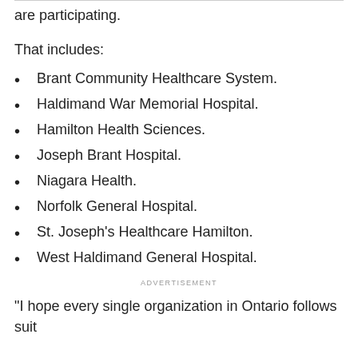are participating.
That includes:
Brant Community Healthcare System.
Haldimand War Memorial Hospital.
Hamilton Health Sciences.
Joseph Brant Hospital.
Niagara Health.
Norfolk General Hospital.
St. Joseph's Healthcare Hamilton.
West Haldimand General Hospital.
ADVERTISEMENT
"I hope every single organization in Ontario follows suit